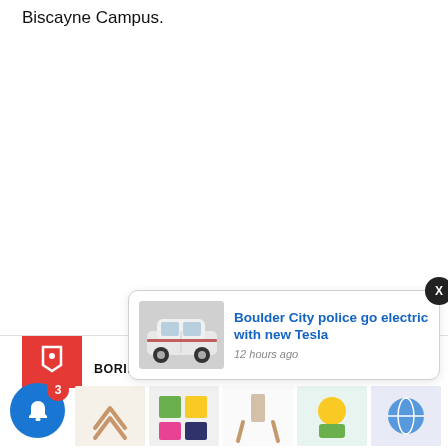Biscayne Campus.
[Figure (screenshot): A browser/app page snippet showing a notification popup over a news website. The popup reads: 'Boulder City police go electric with new Tesla' with a photo of a white Tesla car and '12 hours ago'. The page behind shows 'BORING COMPANY' and 'MIAMI BEACH' category labels, a red tag icon box, a blue bell notification button with badge '3', and a row of thumbnail images at the bottom.]
BORING COMPANY
MIAMI BEACH
Boulder City police go electric with new Tesla
12 hours ago